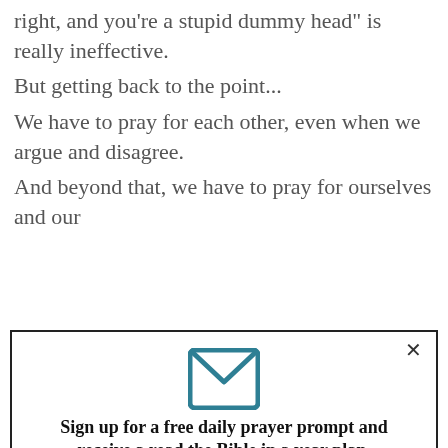right, and you're a stupid dummy head" is really ineffective.
But getting back to the point...
We have to pray for each other, even when we argue and disagree.
And beyond that, we have to pray for ourselves and our
[Figure (screenshot): Modal popup with email icon, sign-up message, First Name input, Email input, and Submit button]
Sign up for a free daily prayer prompt and receive a read the Bible in a year plan.